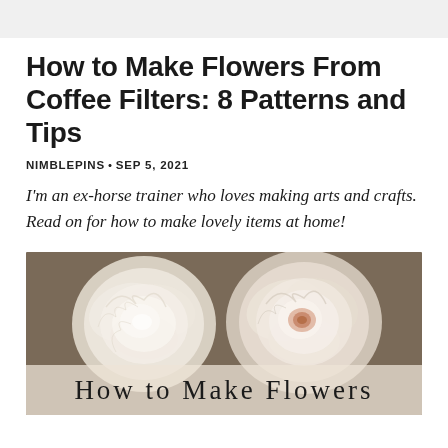How to Make Flowers From Coffee Filters: 8 Patterns and Tips
NIMBLEPINS • SEP 5, 2021
I'm an ex-horse trainer who loves making arts and crafts. Read on for how to make lovely items at home!
[Figure (photo): Two cream/white roses made from coffee filters on a brown background, with overlay text reading 'How to Make Flowers']